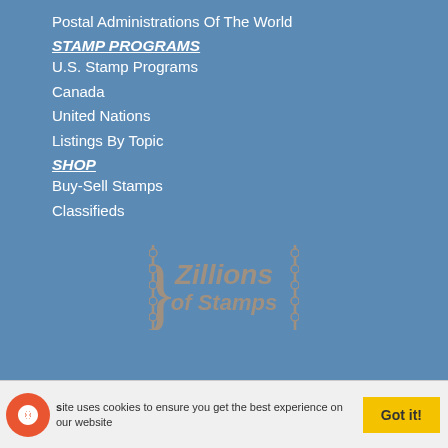Postal Administrations Of The World
STAMP PROGRAMS
U.S. Stamp Programs
Canada
United Nations
Listings By Topic
SHOP
Buy-Sell Stamps
Classifieds
[Figure (logo): Zillions of Stamps logo with decorative stamp-perforation brackets on either side]
This site uses cookies to ensure you get the best experience on our website